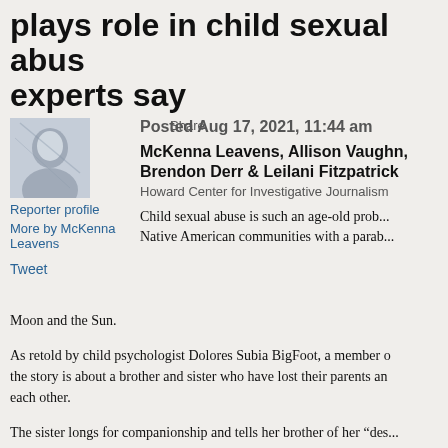plays role in child sexual abuse, experts say
Share   Posted Aug 17, 2021, 11:44 am
[Figure (photo): Reporter profile photo, grayscale portrait]
Reporter profile
More by McKenna Leavens
Tweet
McKenna Leavens, Allison Vaughn, Brendon Derr & Leilani Fitzpatrick
Howard Center for Investigative Journalism
Child sexual abuse is such an age-old prob... Native American communities with a parab... Moon and the Sun.
As retold by child psychologist Dolores Subia BigFoot, a member ... the story is about a brother and sister who have lost their parents an... each other.
The sister longs for companionship and tells her brother of her “des... someone,” the parable goes.
One night, a man comes to her in the darkness of their camp. She c... and makes her laugh and, over time, they become lovers. Ultimatel...